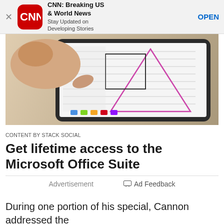[Figure (screenshot): App store banner for CNN: Breaking US & World News app with red CNN logo icon, app title, subtitle 'Stay Updated on Developing Stories', and OPEN button]
[Figure (photo): Person's hand touching a tablet screen displaying diagrams/charts with lines and shapes]
CONTENT BY STACK SOCIAL
Get lifetime access to the Microsoft Office Suite
Advertisement
Ad Feedback
During one portion of his special, Cannon addressed the...